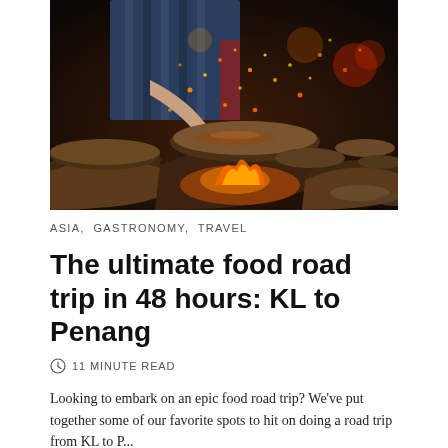[Figure (photo): A street food cook working over open flames with sparks flying, surrounded by clay pots and woks in a dramatic night market setting.]
ASIA,  GASTRONOMY,  TRAVEL
The ultimate food road trip in 48 hours: KL to Penang
11 MINUTE READ
Looking to embark on an epic food road trip? We've put together some of our favorite spots to hit on doing a road trip from KL to P...